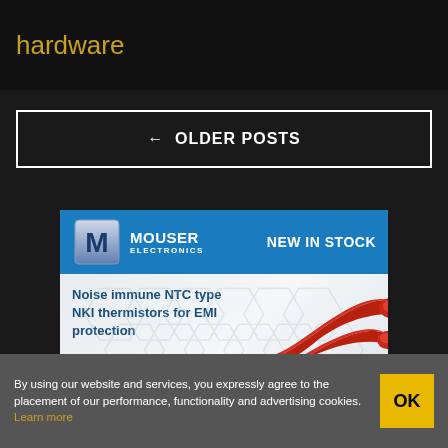hardware
← OLDER POSTS
[Figure (illustration): Mouser Electronics advertisement banner showing 'NEW IN STOCK' with Mouser logo and text about 'Noise immune NTC type NKI thermistors for EMI protection' with an image of a red NTC thermistor component]
By using our website and services, you expressly agree to the placement of our performance, functionality and advertising cookies. Learn more